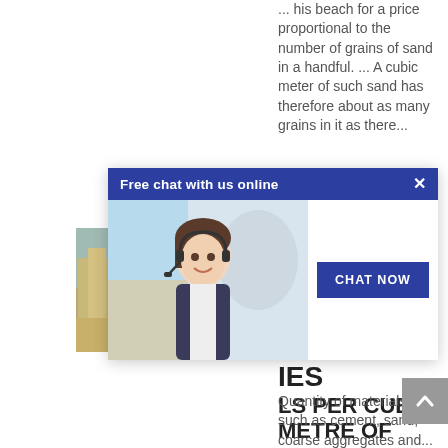... his beach for a price proportional to the number of grains of sand in a handful. ... A cubic meter of such sand has therefore about as many grains in it as there...
[Figure (photo): A chat popup overlay showing a woman with a headset smiling, with a dark blue header 'Free chat with us online', a close (X) button, and a 'CHAT NOW' button on the right side.]
price
IES
LS PER CUBIC METRE OF CONCRETE
Quantity of materials such as cement, sand, coarse aggregates and...